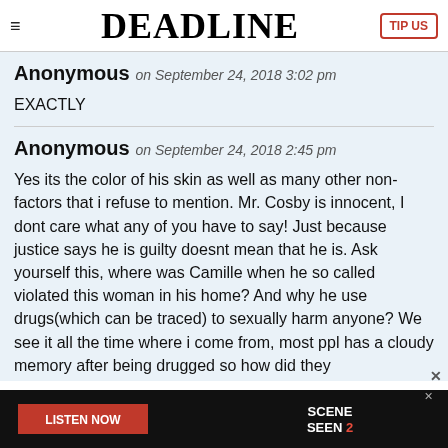DEADLINE | TIP US
Anonymous on September 24, 2018 3:02 pm
EXACTLY
Anonymous on September 24, 2018 2:45 pm
Yes its the color of his skin as well as many other non-factors that i refuse to mention. Mr. Cosby is innocent, I dont care what any of you have to say! Just because justice says he is guilty doesnt mean that he is. Ask yourself this, where was Camille when he so called violated this woman in his home? And why he use drugs(which can be traced) to sexually harm anyone? We see it all the time where i come from, most ppl has a cloudy memory after being drugged so how did they
[Figure (screenshot): Advertisement bar at bottom: LISTEN NOW button in red on black background, SCENE SEEN 2 logo on right]